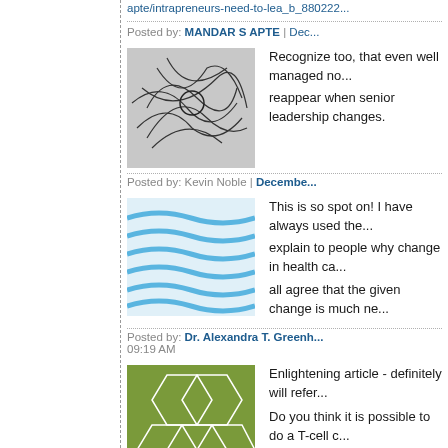apte/intrapreneurs-need-to-lea_b_880222...
Posted by: MANDAR S APTE | Dec...
[Figure (illustration): Abstract network/scribble pattern thumbnail image in gray]
Recognize too, that even well managed no... reappear when senior leadership changes.
Posted by: Kevin Noble | December...
[Figure (illustration): Blue wavy lines thumbnail image]
This is so spot on! I have always used the... explain to people why change in health ca... all agree that the given change is much ne...
Posted by: Dr. Alexandra T. Greenh... 09:19 AM
[Figure (illustration): Green cell/honeycomb pattern thumbnail image]
Enlightening article - definitely will refer...
Do you think it is possible to do a T-cell c... organisation, to identify the network of in... degree of immunity?
Now that would be quite handy.
Posted by: Marianne Mill... | Decem...